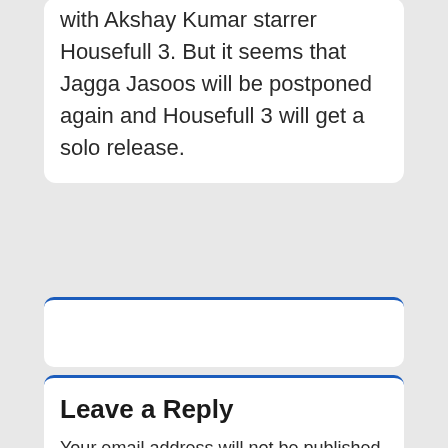with Akshay Kumar starrer Housefull 3. But it seems that Jagga Jasoos will be postponed again and Housefull 3 will get a solo release.
[Figure (other): Empty white card with blue top border]
Leave a Reply
Your email address will not be published. Required fields are